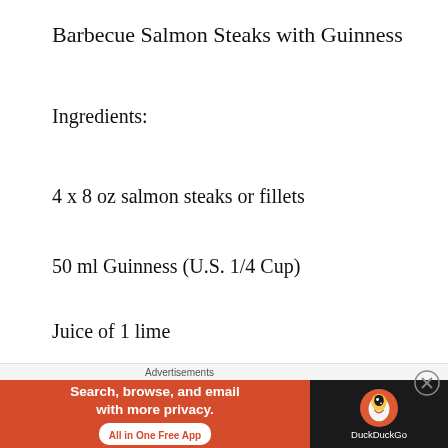Barbecue Salmon Steaks with Guinness
Ingredients:
4 x 8 oz salmon steaks or fillets
50 ml Guinness (U.S. 1/4 Cup)
Juice of 1 lime
2 tbsp vegetable oil
2 tsp fresh ginger
[Figure (other): DuckDuckGo advertisement banner: orange left panel with text 'Search, browse, and email with more privacy. All in One Free App' and dark right panel with DuckDuckGo duck logo and 'DuckDuckGo' text. Above banner is label 'Advertisements'.]